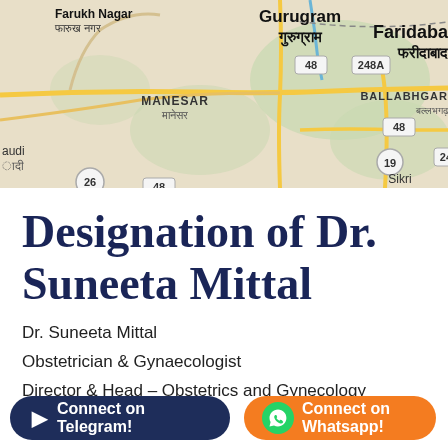[Figure (map): Google Maps screenshot showing Gurugram (गुरुग्राम) area with surrounding regions including Farukh Nagar (फारुख नगर), Manesar (मानेसर), Faridabad (फरीदाबाद), Ballabhgarh (बल्लभगढ़), and Sikri. Road numbers visible: 48, 26, 248A, 19.]
Designation of Dr. Suneeta Mittal
Dr. Suneeta Mittal
Obstetrician & Gynaecologist
Director & Head – Obstetrics and Gynecology
Connect on Telegram!
Connect on Whatsapp!